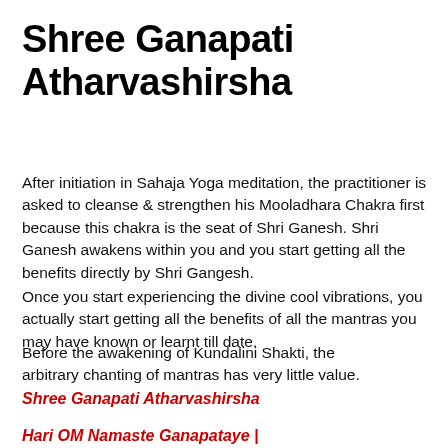Shree Ganapati Atharvashirsha
After initiation in Sahaja Yoga meditation, the practitioner is asked to cleanse & strengthen his Mooladhara Chakra first because this chakra is the seat of Shri Ganesh. Shri Ganesh awakens within you and you start getting all the benefits directly by Shri Gangesh.
Once you start experiencing the divine cool vibrations, you actually start getting all the benefits of all the mantras you may have known or learnt till date.
Before the awakening of Kundalini Shakti, the arbitrary chanting of mantras has very little value.
Shree Ganapati Atharvashirsha
Hari OM Namaste Ganapataye |